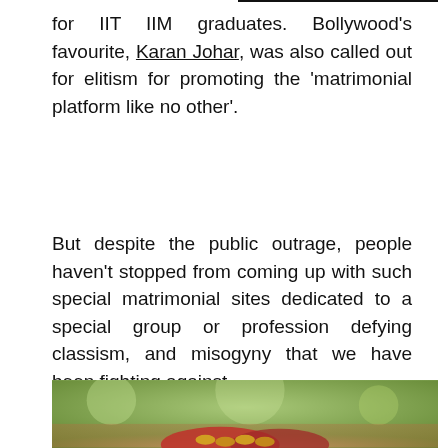for IIT IIM graduates. Bollywood's favourite, Karan Johar, was also called out for elitism for promoting the 'matrimonial platform like no other'.
But despite the public outrage, people haven't stopped from coming up with such special matrimonial sites dedicated to a special group or profession defying classism, and misogyny that we have been fighting against.
[Figure (photo): A photo of decorated wedding hands/bangles against a green outdoor background, partially visible at the bottom of the page.]